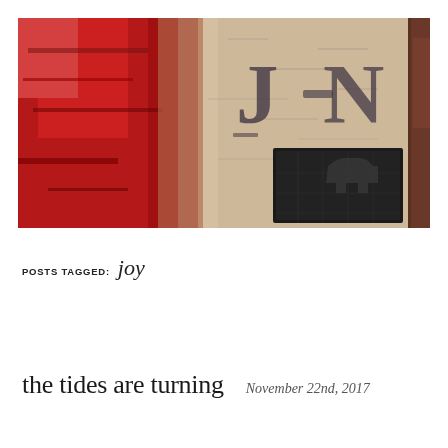[Figure (photo): Abstract wall painting or graffiti with deep red and dark areas on left, lighter textured surface on right with letters 'J' and 'N' visible, and a dark rectangular shape. Part of a person's arm visible at far right edge.]
POSTS TAGGED: joy
the tides are turning
November 22nd, 2017